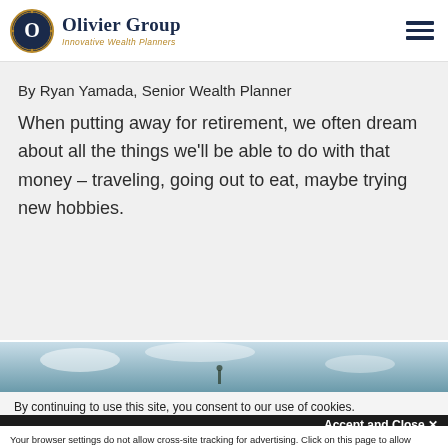Olivier Group — Innovative Wealth Planners
By Ryan Yamada, Senior Wealth Planner
When putting away for retirement, we often dream about all the things we'll be able to do with that money – traveling, going out to eat, maybe trying new hobbies.
[Figure (photo): Outdoor sky/nature photo strip partially visible]
By continuing to use this site, you consent to our use of cookies.
Accept and Close ✕
Your browser settings do not allow cross-site tracking for advertising. Click on this page to allow AdRoll to use cross-site tracking to tailor ads to you. Learn more or opt out of this AdRoll tracking by clicking here. This message only appears once.